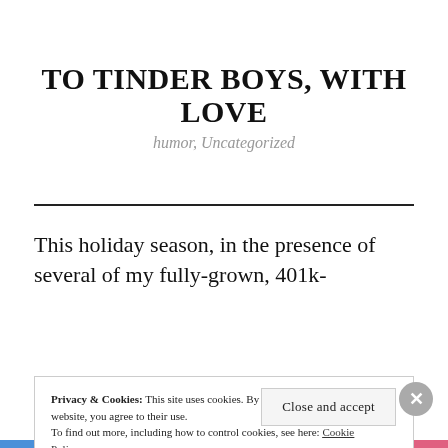TO TINDER BOYS, WITH LOVE
humor, Uncategorized
This holiday season, in the presence of several of my fully-grown, 401k-
Privacy & Cookies: This site uses cookies. By continuing to use this website, you agree to their use.
To find out more, including how to control cookies, see here: Cookie Policy
Close and accept